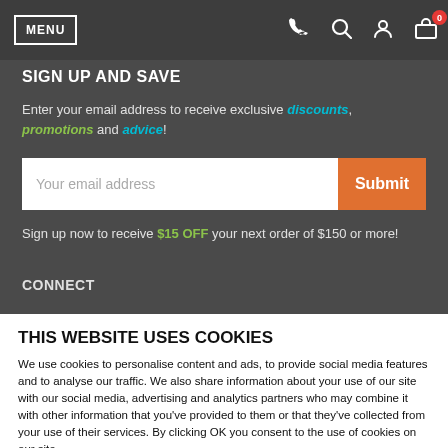MENU [navigation bar with phone, search, user, cart icons]
SIGN UP AND SAVE
Enter your email address to receive exclusive discounts, promotions and advice!
Your email address [input field] Submit [button]
Sign up now to receive $15 OFF your next order of $150 or more!
CONNECT
THIS WEBSITE USES COOKIES
We use cookies to personalise content and ads, to provide social media features and to analyse our traffic. We also share information about your use of our site with our social media, advertising and analytics partners who may combine it with other information that you've provided to them or that they've collected from your use of their services. By clicking OK you consent to the use of cookies on our site.
Do Not Sell My Personal Information
OK
Show details